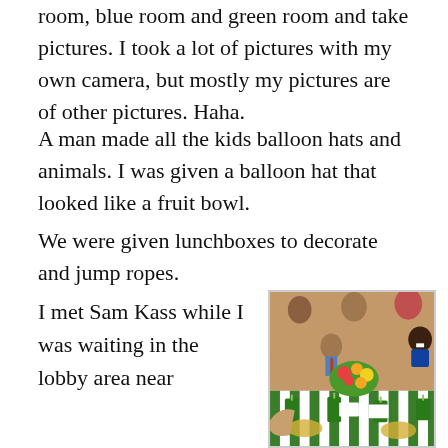room, blue room and green room and take pictures. I took a lot of pictures with my own camera, but mostly my pictures are of other pictures. Haha.
A man made all the kids balloon hats and animals. I was given a balloon hat that looked like a fruit bowl.
We were given lunchboxes to decorate and jump ropes.
I met Sam Kass while I was waiting in the lobby area near
[Figure (photo): Photo of children seated at a decorated dining table with green striped tablecloth, green cups with straws, and colorful fruit/flower centerpiece]